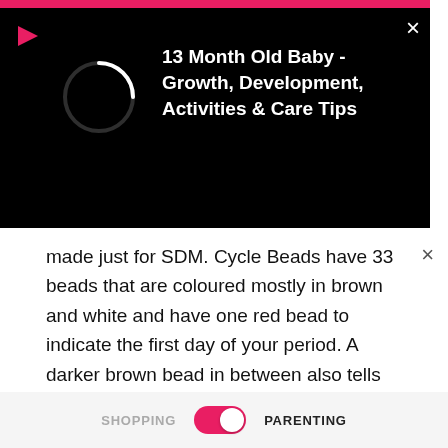[Figure (screenshot): Black video player banner with pink top bar, play arrow icon, circular loader, and white bold title text '13 Month Old Baby - Growth, Development, Activities & Care Tips'. Close X button at top right.]
made just for SDM. Cycle Beads have 33 beads that are coloured mostly in brown and white and have one red bead to indicate the first day of your period. A darker brown bead in between also tells you if your cycle is shorter than 26 days. A black rubber ring is used to move from bead to bead.
ADVERTISEMENT
[Figure (screenshot): Babyhug advertisement banner with baby clothing (yellow pants and dark blue moon t-shirt), babyhug pink logo badge, Shop Now button, star decorations, and close X button.]
SHOPPING   PARENTING